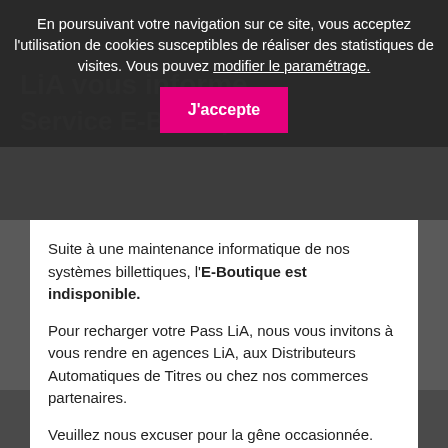En poursuivant votre navigation sur ce site, vous acceptez l'utilisation de cookies susceptibles de réaliser des statistiques de visites. Vous pouvez modifier le paramétrage.
J'accepte
LiA vous informe
Service E-Boutique
Suite à une maintenance informatique de nos systèmes billettiques, l'E-Boutique est indisponible.
Pour recharger votre Pass LiA, nous vous invitons à vous rendre en agences LiA, aux Distributeurs Automatiques de Titres ou chez nos commerces partenaires.
Veuillez nous excuser pour la gêne occasionnée.
Modification des horaires d'ouverture du service clients
Haut de page